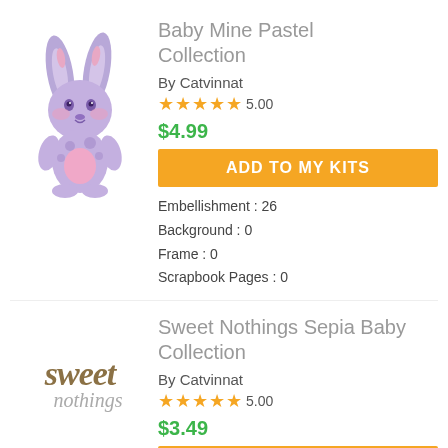Baby Mine Pastel Collection
By Catvinnat
★★★★★ 5.00
$4.99
ADD TO MY KITS
Embellishment : 26
Background : 0
Frame : 0
Scrapbook Pages : 0
Sweet Nothings Sepia Baby Collection
By Catvinnat
★★★★★ 5.00
$3.49
ADD TO MY KITS
Embellishment : 17